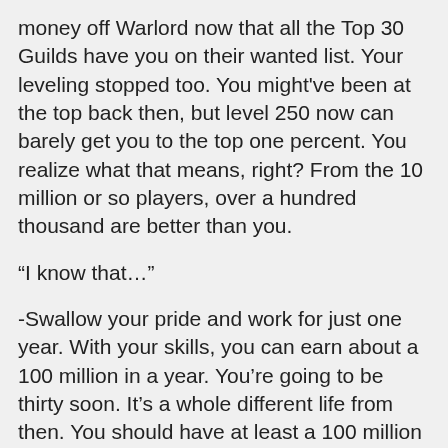money off Warlord now that all the Top 30 Guilds have you on their wanted list. Your leveling stopped too. You might've been at the top back then, but level 250 now can barely get you to the top one percent. You realize what that means, right? From the 10 million or so players, over a hundred thousand are better than you.
“I know that…”
-Swallow your pride and work for just one year. With your skills, you can earn about a 100 million in a year. You’re going to be thirty soon. It’s a whole different life from then. You should have at least a 100 million prepared.